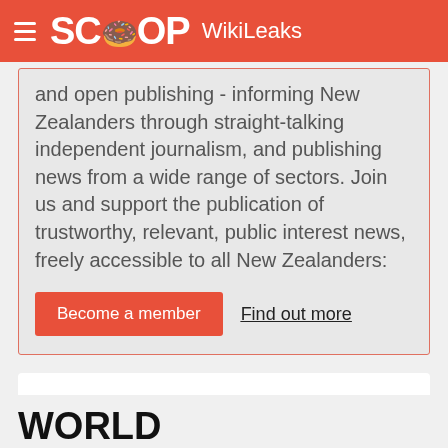SCOOP WikiLeaks
and open publishing - informing New Zealanders through straight-talking independent journalism, and publishing news from a wide range of sectors. Join us and support the publication of trustworthy, relevant, public interest news, freely accessible to all New Zealanders:
Become a member   Find out more
Find more from Wikileaks on InfoPages.
WORLD